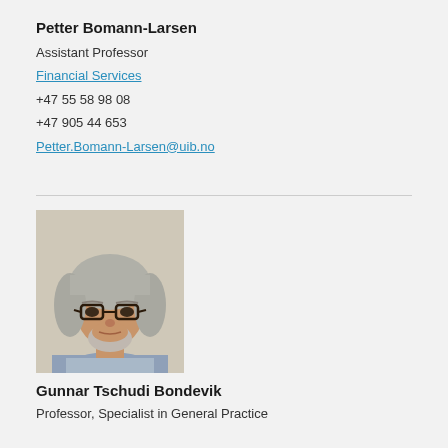Petter Bomann-Larsen
Assistant Professor
Financial Services
+47 55 58 98 08
+47 905 44 653
Petter.Bomann-Larsen@uib.no
[Figure (photo): Headshot photograph of a middle-aged man with gray/silver hair, dark-rimmed glasses, and a beard, wearing a blue checkered shirt]
Gunnar Tschudi Bondevik
Professor, Specialist in General Practice